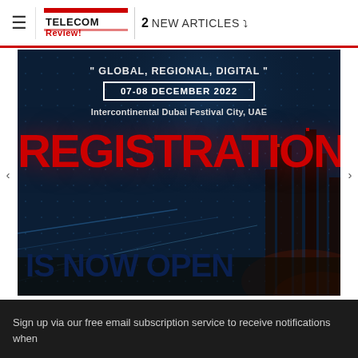TELECOM Review | 2 NEW ARTICLES
[Figure (illustration): Event promotional banner for Telecom Review Summit. Dark tech/city background with digital globe overlay. Text reads: 'Global, Regional, Digital' 07-08 DECEMBER 2022, Intercontinental Dubai Festival City, UAE. REGISTRATION IS NOW OPEN.]
Sign up via our free email subscription service to receive notifications when